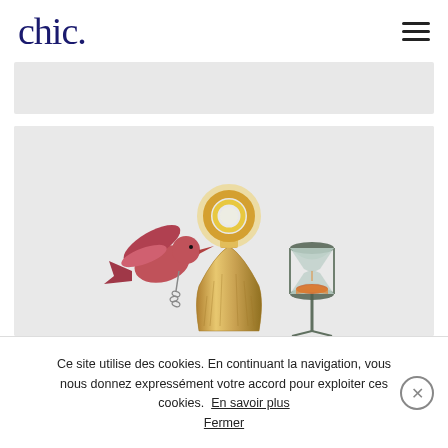chic.
[Figure (other): Grey advertisement banner placeholder]
[Figure (photo): Decorative objects on light grey background: a pink bird figurine holding a chain, a golden hourglass-shaped vase with a glowing ring on top, and an ornate hourglass timer]
Ce site utilise des cookies. En continuant la navigation, vous nous donnez expressément votre accord pour exploiter ces cookies. En savoir plus   Fermer